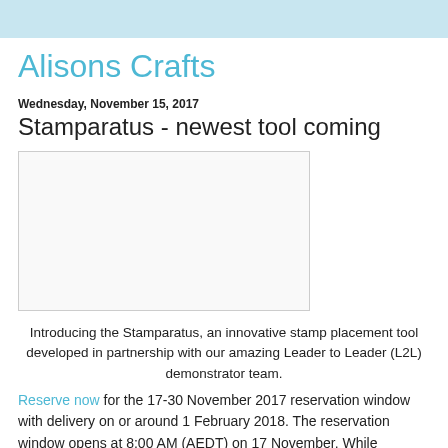Alisons Crafts
Wednesday, November 15, 2017
Stamparatus - newest tool coming
[Figure (photo): Blank/placeholder image area with light border]
Introducing the Stamparatus, an innovative stamp placement tool developed in partnership with our amazing Leader to Leader (L2L) demonstrator team.
Reserve now for the 17-30 November 2017 reservation window with delivery on or around 1 February 2018. The reservation window opens at 8:00 AM (AEDT) on 17 November. While supplies last.
Modify your reservation(s).
It's big news when something breaks the mold and changes